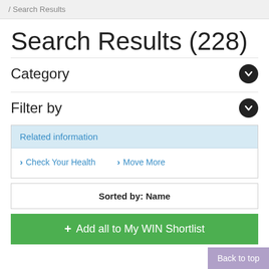/ Search Results
Search Results (228)
Category
Filter by
Related information
Check Your Health
Move More
Sorted by: Name
+ Add all to My WIN Shortlist
Back to top